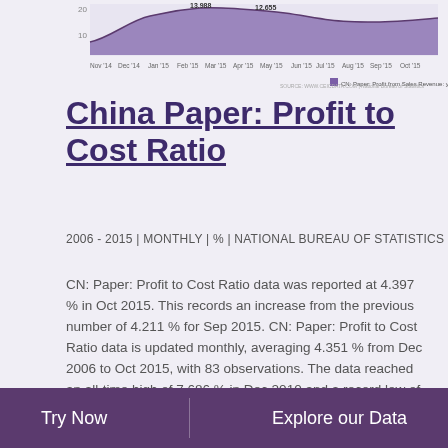[Figure (line-chart): Line chart showing CN: Paper: Profit from Sales Revenue ytd from Nov 2014 to Oct 2015, with values around 10-20 range, annotations at 13.988 and 12.655]
China Paper: Profit to Cost Ratio
2006 - 2015 | MONTHLY | % | NATIONAL BUREAU OF STATISTICS
CN: Paper: Profit to Cost Ratio data was reported at 4.397 % in Oct 2015. This records an increase from the previous number of 4.211 % for Sep 2015. CN: Paper: Profit to Cost Ratio data is updated monthly, averaging 4.351 % from Dec 2006 to Oct 2015, with 83 observations. The data reached an all-time high of 7.686 % in Dec 2010 and a record low of 2.662 % in Feb 2009. CN: Paper: Profit to Cost Ratio data remains active status in CEIC and is reported by National Bureau of Statistics. The data is categorized under China Premium Database's Industrial Sector – Table CN.BHJ: Paper Making: Paper.
Try Now   Explore our Data